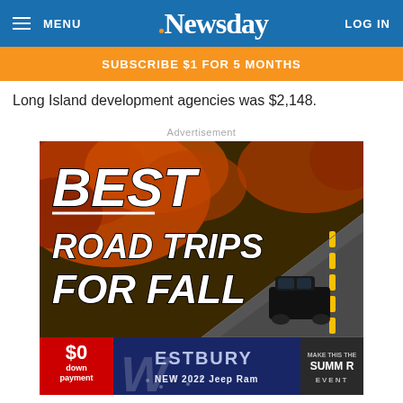MENU  Newsday  LOG IN
SUBSCRIBE $1 FOR 5 MONTHS
Long Island development agencies was $2,148.
Advertisement
[Figure (illustration): Advertisement image showing an autumn road trip scene with fall foliage and a car on a highway, with large bold italic text reading 'BEST ROAD TRIPS FOR FALL']
[Figure (illustration): Car dealership advertisement for Westbury showing '$0 down payment', 'NEW 2022 Jeep Ram', and 'SUMMER EVENT' text on a red and blue background]